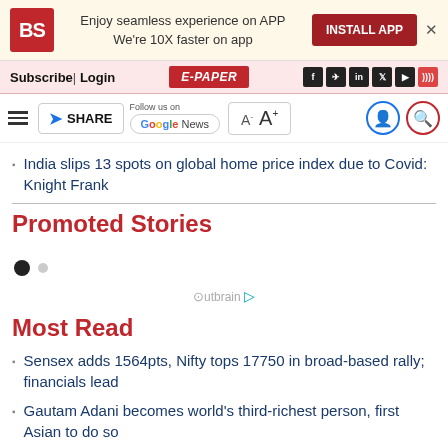BS | Enjoy seamless experience on APP | We're 10X faster on app | INSTALL APP
Subscribe | Login | E-PAPER
SHARE | Follow us on Google News | A- A+
India slips 13 spots on global home price index due to Covid: Knight Frank
Promoted Stories
Outbrain
Most Read
Sensex adds 1564pts, Nifty tops 17750 in broad-based rally; financials lead
Gautam Adani becomes world's third-richest person, first Asian to do so
RVNL, Prai Ind: Two stocks that Mehul Kothari of